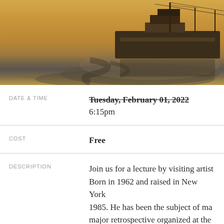[Figure (photo): Painting of a tall ship reflected in water with a warm golden/amber sky background]
DATE & TIME: Tuesday, February 01, 2022 (strikethrough) 6:15pm
COST: Free
DESCRIPTION: Join us for a lecture by visiting artist

Born in 1962 and raised in New York 1985. He has been the subject of ma major retrospective organized at the included in public and private colle